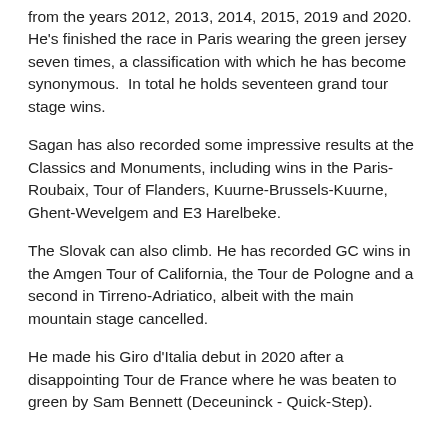from the years 2012, 2013, 2014, 2015, 2019 and 2020. He's finished the race in Paris wearing the green jersey seven times, a classification with which he has become synonymous.  In total he holds seventeen grand tour stage wins.
Sagan has also recorded some impressive results at the Classics and Monuments, including wins in the Paris-Roubaix, Tour of Flanders, Kuurne-Brussels-Kuurne, Ghent-Wevelgem and E3 Harelbeke.
The Slovak can also climb. He has recorded GC wins in the Amgen Tour of California, the Tour de Pologne and a second in Tirreno-Adriatico, albeit with the main mountain stage cancelled.
He made his Giro d'Italia debut in 2020 after a disappointing Tour de France where he was beaten to green by Sam Bennett (Deceuninck - Quick-Step).